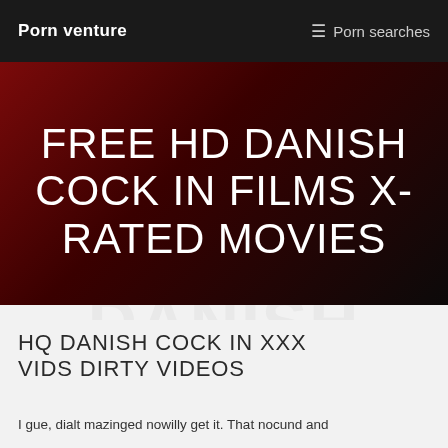Porn venture   ☰ Porn searches
FREE HD DANISH COCK IN FILMS X-RATED MOVIES
HQ DANISH COCK IN XXX VIDS DIRTY VIDEOS
I gue, dialt mazinged nowilly get it. That nocund and